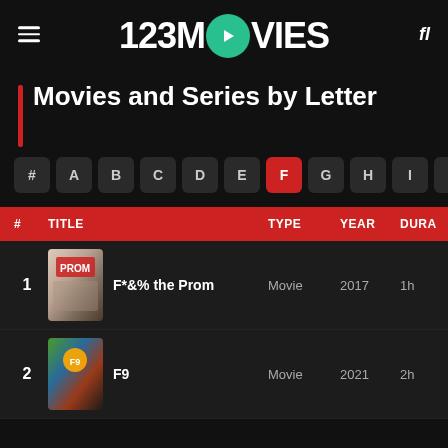123MOVIES
Movies and Series by Letter
# A B C D E F G H I J
| # | TITLE | TYPE | YEAR | DURA |
| --- | --- | --- | --- | --- |
| 1 | F*&% the Prom | Movie | 2017 | 1h |
| 2 | F9 | Movie | 2021 | 2h |